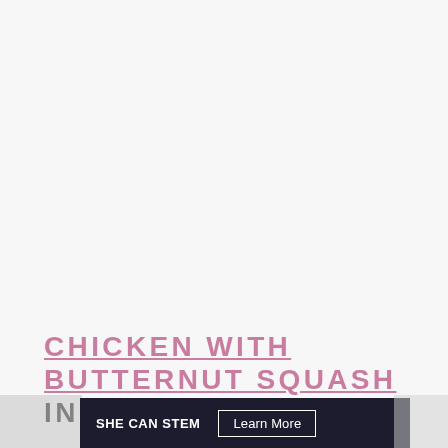CHICKEN WITH BUTTERNUT SQUASH IN COCONUT SAUCE
[Figure (other): Advertisement banner with dark background showing 'SHE CAN STEM' logo and 'Learn More' button]